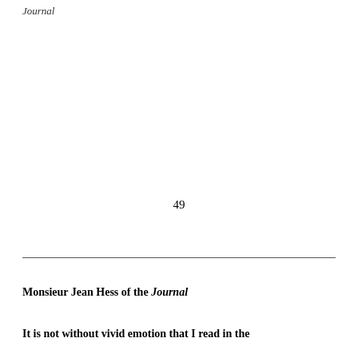Journal
49
Monsieur Jean Hess of the Journal
It is not without vivid emotion that I read in the